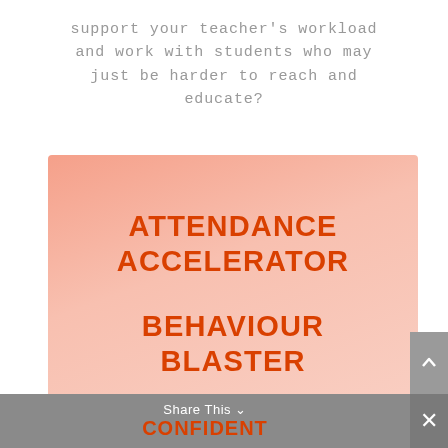support your teacher's workload and work with students who may just be harder to reach and educate?
[Figure (infographic): Pink gradient box containing program names: 'Attendance Accelerator' and 'Behaviour Blaster' in bold orange uppercase text]
Share This  CONFIDENT